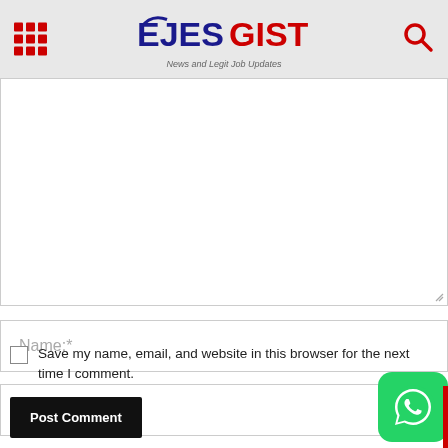EJESGIST — News and Legit Job Updates
[Figure (screenshot): Comment form with textarea for comment, Name, Email, Website input fields, save checkbox, Post Comment button, and WhatsApp FAB button]